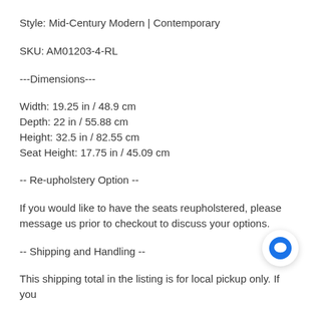Style: Mid-Century Modern | Contemporary
SKU: AM01203-4-RL
---Dimensions---
Width: 19.25 in / 48.9 cm
Depth: 22 in / 55.88 cm
Height: 32.5 in / 82.55 cm
Seat Height: 17.75 in / 45.09 cm
-- Re-upholstery Option --
If you would like to have the seats reupholstered, please message us prior to checkout to discuss your options.
-- Shipping and Handling --
This shipping total in the listing is for local pickup only. If you